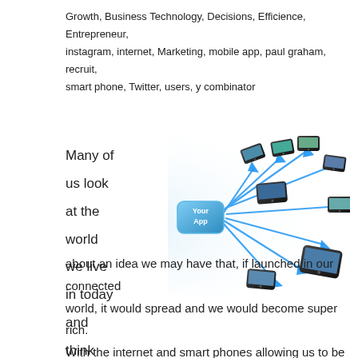Growth, Business Technology, Decisions, Efficience, Entrepreneur, instagram, internet, Marketing, mobile app, paul graham, recruit, smart phone, Twitter, users, y combinator
Many of us look at the world we live in today and think
[Figure (illustration): Illustration of smartphones radiating out from a central 'Your App' icon, connected by blue arrows, representing app distribution across mobile devices.]
about an idea we may have that, if launched in our connected world, it would spread and we would become super rich. With the internet and smart phones allowing us to be connected everywhere, this is not a pipe dream. The right idea, combined with enough money and a strong